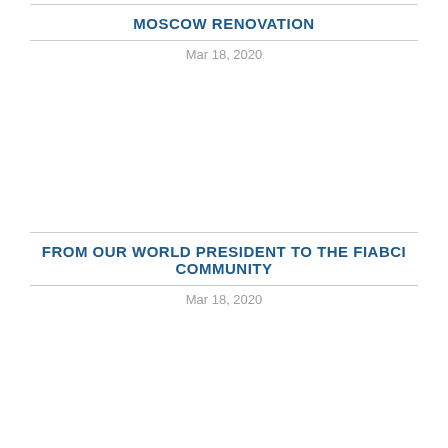MOSCOW RENOVATION
Mar 18, 2020
FROM OUR WORLD PRESIDENT TO THE FIABCI COMMUNITY
Mar 18, 2020